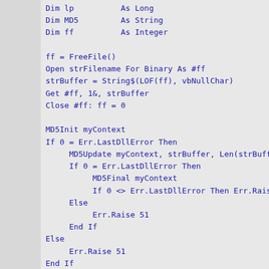[Figure (screenshot): VBA/Visual Basic source code snippet showing MD5 file hashing routine with Dim declarations, file open/read operations, MD5Init/MD5Update/MD5Final calls, error handling, and hex string conversion loop.]